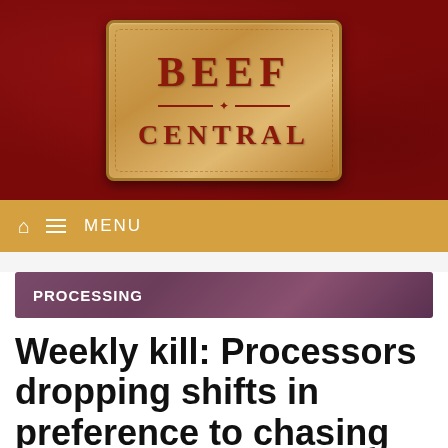[Figure (logo): Beef Central logo: tan/leather badge with dark red 'BEEF' text above decorative divider and 'CENTRAL' text, set against dark red leather-texture background]
MENU
PROCESSING
Weekly kill: Processors dropping shifts in preference to chasing cattle, at a loss